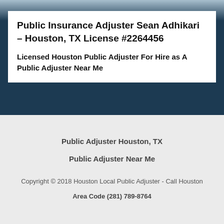Public Insurance Adjuster Sean Adhikari – Houston, TX License #2264456
Licensed Houston Public Adjuster For Hire as A Public Adjuster Near Me
Public Adjuster Houston, TX
Public Adjuster Near Me
Copyright © 2018 Houston Local Public Adjuster - Call Houston Area Code (281) 789-8764